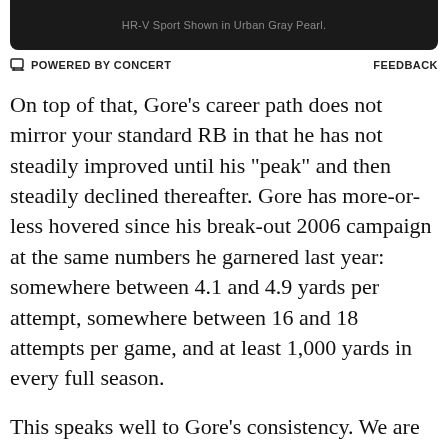[Figure (other): Dark banner image area showing partial product text 'HR-V Sport Shown in Urban Gray Pearl.']
POWERED BY CONCERT   FEEDBACK
On top of that, Gore's career path does not mirror your standard RB in that he has not steadily improved until his "peak" and then steadily declined thereafter. Gore has more-or-less hovered since his break-out 2006 campaign at the same numbers he garnered last year: somewhere between 4.1 and 4.9 yards per attempt, somewhere between 16 and 18 attempts per game, and at least 1,000 yards in every full season.
This speaks well to Gore's consistency. We are not looking at unrepeatable numbers for Gore, even at age 29. If the "cliff" for RBs is truly not 'till 32, then Gore has quite a bit left in the tank, and his reliability gives us reason for hopefulness.